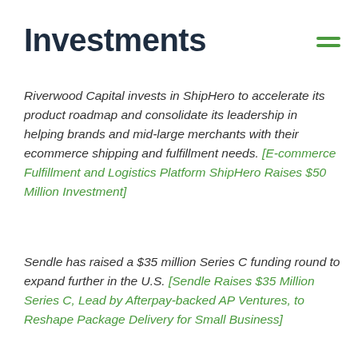Investments
Riverwood Capital invests in ShipHero to accelerate its product roadmap and consolidate its leadership in helping brands and mid-large merchants with their ecommerce shipping and fulfillment needs. [E-commerce Fulfillment and Logistics Platform ShipHero Raises $50 Million Investment]
Sendle has raised a $35 million Series C funding round to expand further in the U.S. [Sendle Raises $35 Million Series C, Lead by Afterpay-backed AP Ventures, to Reshape Package Delivery for Small Business]